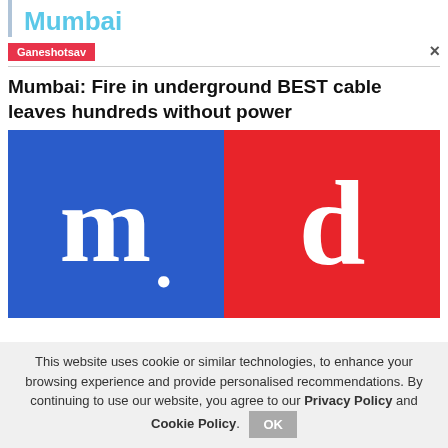Mumbai
Ganeshotsav
Mumbai: Fire in underground BEST cable leaves hundreds without power
[Figure (logo): Mid-day newspaper logo: blue left half with white 'm.' and red right half with white 'd']
This website uses cookie or similar technologies, to enhance your browsing experience and provide personalised recommendations. By continuing to use our website, you agree to our Privacy Policy and Cookie Policy.